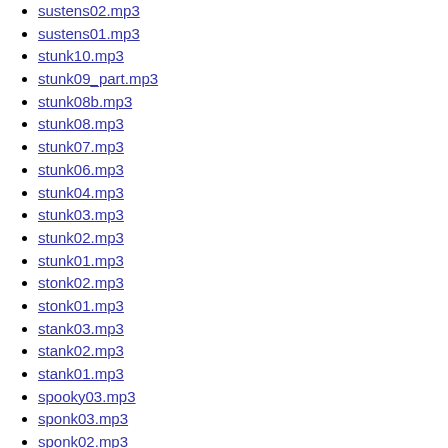sustens02.mp3
sustens01.mp3
stunk10.mp3
stunk09_part.mp3
stunk08b.mp3
stunk08.mp3
stunk07.mp3
stunk06.mp3
stunk04.mp3
stunk03.mp3
stunk02.mp3
stunk01.mp3
stonk02.mp3
stonk01.mp3
stank03.mp3
stank02.mp3
stank01.mp3
spooky03.mp3
sponk03.mp3
sponk02.mp3
space_virus02.mp3
something09.mp3
something08.mp3
something07.mp3
skyttelhangaret01.mp3